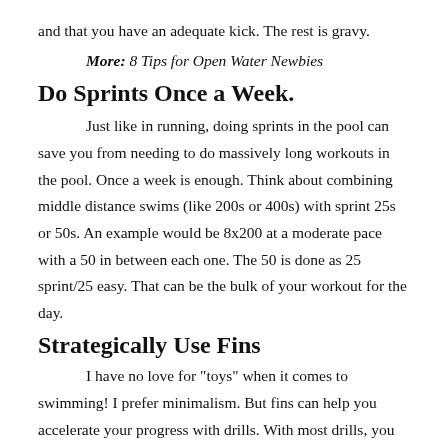and that you have an adequate kick. The rest is gravy.
More: 8 Tips for Open Water Newbies
Do Sprints Once a Week.
Just like in running, doing sprints in the pool can save you from needing to do massively long workouts in the pool. Once a week is enough. Think about combining middle distance swims (like 200s or 400s) with sprint 25s or 50s. An example would be 8x200 at a moderate pace with a 50 in between each one. The 50 is done as 25 sprint/25 easy. That can be the bulk of your workout for the day.
Strategically Use Fins
I have no love for "toys" when it comes to swimming! I prefer minimalism. But fins can help you accelerate your progress with drills. With most drills, you will start to "get it"